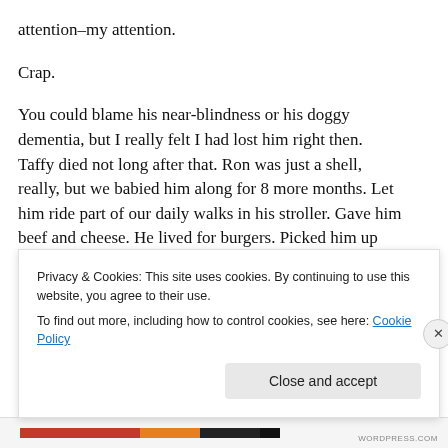attention–my attention.
Crap.
You could blame his near-blindness or his doggy dementia, but I really felt I had lost him right then. Taffy died not long after that. Ron was just a shell, really, but we babied him along for 8 more months. Let him ride part of our daily walks in his stroller. Gave him beef and cheese. He lived for burgers. Picked him up when he fell and couldn't get up. Then Eveready Doggy's batteries finally
Privacy & Cookies: This site uses cookies. By continuing to use this website, you agree to their use.
To find out more, including how to control cookies, see here: Cookie Policy
Close and accept